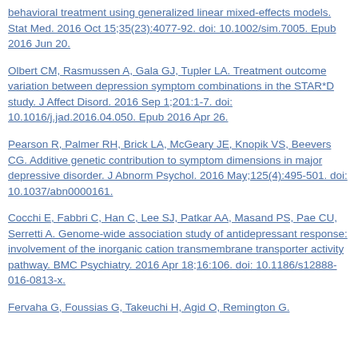behavioral treatment using generalized linear mixed-effects models. Stat Med. 2016 Oct 15;35(23):4077-92. doi: 10.1002/sim.7005. Epub 2016 Jun 20.
Olbert CM, Rasmussen A, Gala GJ, Tupler LA. Treatment outcome variation between depression symptom combinations in the STAR*D study. J Affect Disord. 2016 Sep 1;201:1-7. doi: 10.1016/j.jad.2016.04.050. Epub 2016 Apr 26.
Pearson R, Palmer RH, Brick LA, McGeary JE, Knopik VS, Beevers CG. Additive genetic contribution to symptom dimensions in major depressive disorder. J Abnorm Psychol. 2016 May;125(4):495-501. doi: 10.1037/abn0000161.
Cocchi E, Fabbri C, Han C, Lee SJ, Patkar AA, Masand PS, Pae CU, Serretti A. Genome-wide association study of antidepressant response: involvement of the inorganic cation transmembrane transporter activity pathway. BMC Psychiatry. 2016 Apr 18;16:106. doi: 10.1186/s12888-016-0813-x.
Fervaha G, Foussias G, Takeuchi H, Agid O, Remington G.